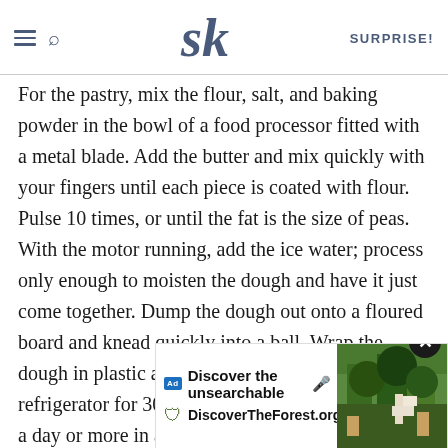SK SURPRISE!
For the pastry, mix the flour, salt, and baking powder in the bowl of a food processor fitted with a metal blade. Add the butter and mix quickly with your fingers until each piece is coated with flour. Pulse 10 times, or until the fat is the size of peas. With the motor running, add the ice water; process only enough to moisten the dough and have it just come together. Dump the dough out onto a floured board and knead quickly into a ball. Wrap the dough in plastic and allow it to rest in the refrigerator for 30 minutes. (This can also be made a day or more in advance.)
Preheat the oven to 375 degrees F.
Divide t... Divide t... into
[Figure (screenshot): Advertisement overlay: 'Discover the unsearchable / DiscoverTheForest.org' with forest photo and close button]